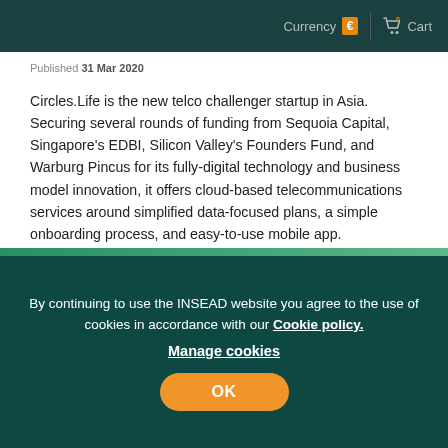Currency € | 0 Cart
Published 31 Mar 2020
Circles.Life is the new telco challenger startup in Asia. Securing several rounds of funding from Sequoia Capital, Singapore's EDBI, Silicon Valley's Founders Fund, and Warburg Pincus for its fully-digital technology and business model innovation, it offers cloud-based telecommunications services around simplified data-focused plans, a simple onboarding process, and easy-to-use mobile app.
View case
By continuing to use the INSEAD website you agree to the use of cookies in accordance with our Cookie policy.
Manage cookies
OK